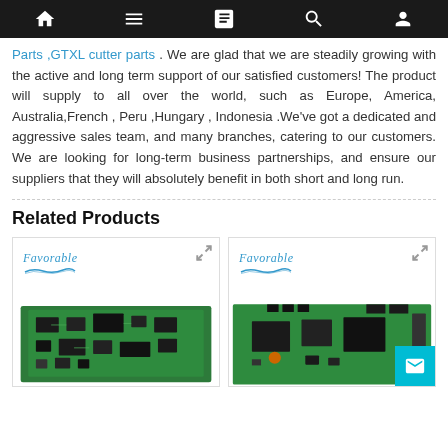Navigation bar with home, menu, book, search, and profile icons
Parts ,GTXL cutter parts . We are glad that we are steadily growing with the active and long term support of our satisfied customers! The product will supply to all over the world, such as Europe, America, Australia,French , Peru ,Hungary , Indonesia .We've got a dedicated and aggressive sales team, and many branches, catering to our customers. We are looking for long-term business partnerships, and ensure our suppliers that they will absolutely benefit in both short and long run.
Related Products
[Figure (photo): Product card showing a green circuit board/PCB with Favorable brand logo in top left and expand icon in top right]
[Figure (photo): Product card showing a green circuit board/PCB with Favorable brand logo in top left, expand icon in top right, and a cyan email button in bottom right corner]